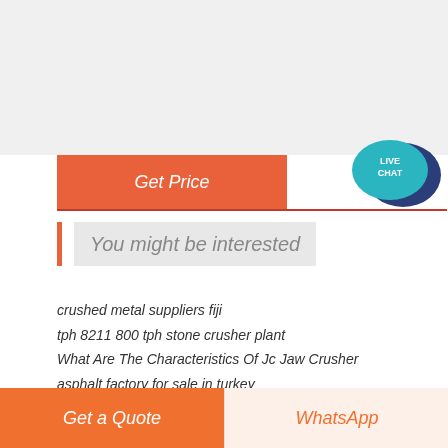[Figure (other): Live Chat button widget in top right corner showing speech bubble icons with 'LIVE CHAT' text]
Get Price
You might be interested
crushed metal suppliers fiji
tph 8211 800 tph stone crusher plant
What Are The Characteristics Of Jc Jaw Crusher
asphalt factory for sale in turkey
vertical roller for plate
south africa stone crusher with cheap price
Grinding Clinker Production Costs
stone crusher machine with prices in india
cement mill ball types
miniral processing of sand from richards bay minerals
knowledge about roller mill in cement pany
Get a Quote
WhatsApp